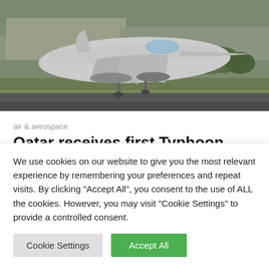[Figure (photo): A Eurofighter Typhoon fighter jet on a runway, viewed from the front-left angle, showing the aircraft's nose, cockpit, wings with missiles/fuel tanks, and landing gear on the tarmac. Green grass and trees visible in background.]
air & aerospace
Qatar receives first Typhoon fighter aircraft
The first Typhoon fighter aircraft was delivered to the
We use cookies on our website to give you the most relevant experience by remembering your preferences and repeat visits. By clicking "Accept All", you consent to the use of ALL the cookies. However, you may visit "Cookie Settings" to provide a controlled consent.
Cookie Settings | Accept All